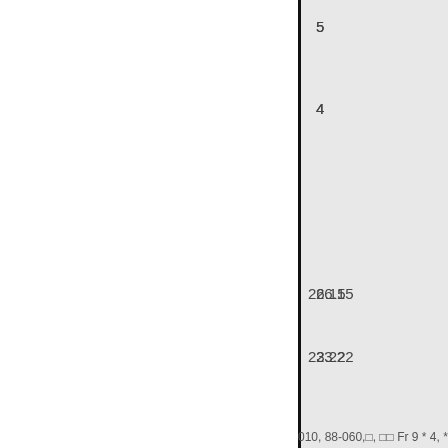5
4
26.15
23.22
7
17P
010, 88-060,□, □□ Fr 9 * 4, * HY.